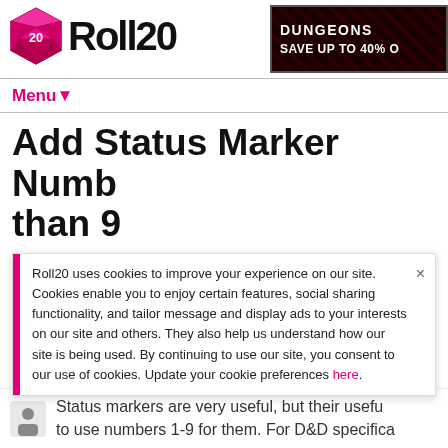Roll20
[Figure (logo): Roll20 logo with pink D20 die icon and Roll20 text in bold black]
[Figure (infographic): Dark red advertisement banner: DUNGEONS / SAVE UP TO 40% O...]
Menu▼
Add Status Marker Numbers Greater than 9
Roll20 uses cookies to improve your experience on our site. Cookies enable you to enjoy certain features, social sharing functionality, and tailor message and display ads to your interests on our site and others. They also help us understand how our site is being used. By continuing to use our site, you consent to our use of cookies. Update your cookie preferences here.
Status markers are very useful, but their usefulness is limited to use numbers 1-9 for them. For D&D specifica...